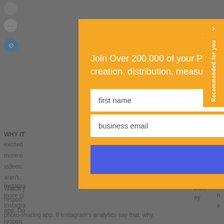[Figure (screenshot): Background webpage screenshot showing dimmed article text with 'WHY IT' heading visible, Instagram-related body text partially visible behind modal overlay]
Sign Up Now
Join Over 200,000 of your Peers and get how-to guidance and advice on content creation, distribution, measurement, and more delivered daily to your inbox.
first name
business email
Sign Up Now
Recommended for you